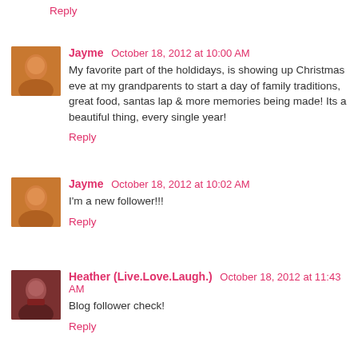Reply
Jayme  October 18, 2012 at 10:00 AM
My favorite part of the holdidays, is showing up Christmas eve at my grandparents to start a day of family traditions, great food, santas lap & more memories being made! Its a beautiful thing, every single year!
Reply
Jayme  October 18, 2012 at 10:02 AM
I'm a new follower!!!
Reply
Heather (Live.Love.Laugh.)  October 18, 2012 at 11:43 AM
Blog follower check!
Reply